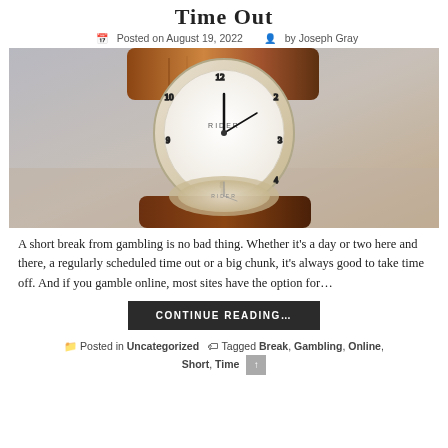Time Out
Posted on August 19, 2022   by Joseph Gray
[Figure (photo): A wristwatch with a brown leather strap and white dial showing the brand RIDER, photographed with its reflection on a glossy surface.]
A short break from gambling is no bad thing. Whether it's a day or two here and there, a regularly scheduled time out or a big chunk, it's always good to take time off. And if you gamble online, most sites have the option for…
CONTINUE READING…
Posted in Uncategorized   Tagged Break, Gambling, Online, Short, Time